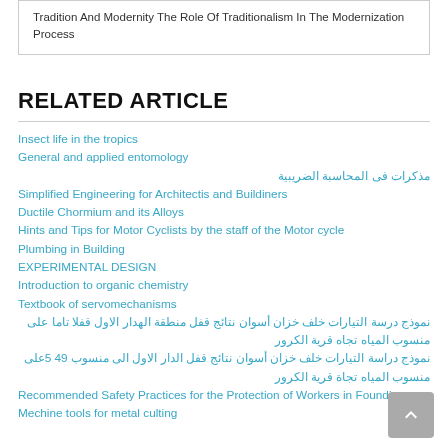Tradition And Modernity The Role Of Traditionalism In The Modernization Process
RELATED ARTICLE
Insect life in the tropics
General and applied entomology
مذكرات فى المحاسبة الضريبية
Simplified Engineering for Architectis and Buildiners
Ductile Chormium and its Alloys
Hints and Tips for Motor Cyclists by the staff of the Motor cycle
Plumbing in Building
EXPERIMENTAL DESIGN
Introduction to organic chemistry
Textbook of servomechanisms
نموذج درسة التيارات خلف خزان أسوان نتائج قفل منطقة الهدار الاول قفلا تاما على منسوب المياه تجاه قرية الكرور
نموذج دراسة التيارات خلف خزان أسوان نتائج قفل الدار الاول الى منسوب 49 5على منسوب المياه تجاة قرية الكرور
Recommended Safety Practices for the Protection of Workers in Foundiers
Mechine tools for metal culting